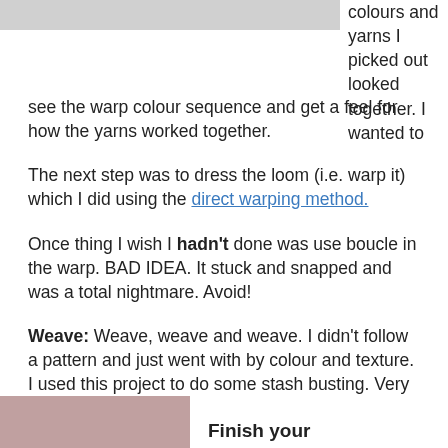[Figure (photo): Partial image of yarn/weaving project, top left, gray placeholder]
colours and yarns I picked out looked together. I wanted to see the warp colour sequence and get a feel for how the yarns worked together.
The next step was to dress the loom (i.e. warp it) which I did using the direct warping method.
Once thing I wish I hadn't done was use boucle in the warp. BAD IDEA. It stuck and snapped and was a total nightmare. Avoid!
Weave: Weave, weave and weave. I didn't follow a pattern and just went with by colour and texture. I used this project to do some stash busting. Very gratifying.
[Figure (photo): Partial image of weaving project, bottom left corner]
Finish your